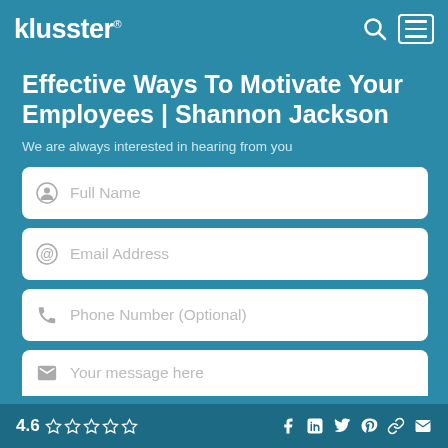klusster® [search icon] [menu icon]
Effective Ways To Motivate Your Employees | Shannon Jackson
We are always interested in hearing from you
Full Name (form field)
Email Address (form field)
Phone Number (Optional) (form field)
Your message here (form field)
4.6 ☆☆☆☆☆ [social icons: Facebook, LinkedIn, Twitter, Pinterest, Link, Email]